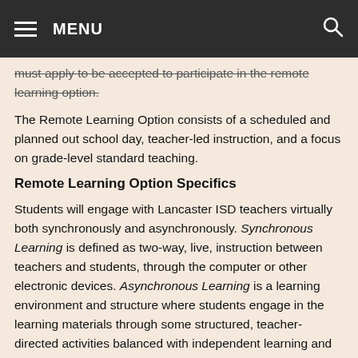MENU
must apply to be accepted to participate in the remote learning option.
The Remote Learning Option consists of a scheduled and planned out school day, teacher-led instruction, and a focus on grade-level standard teaching.
Remote Learning Option Specifics
Students will engage with Lancaster ISD teachers virtually both synchronously and asynchronously. Synchronous Learning is defined as two-way, live, instruction between teachers and students, through the computer or other electronic devices. Asynchronous Learning is a learning environment and structure where students engage in the learning materials through some structured, teacher-directed activities balanced with independent learning and practice. Many of the learning